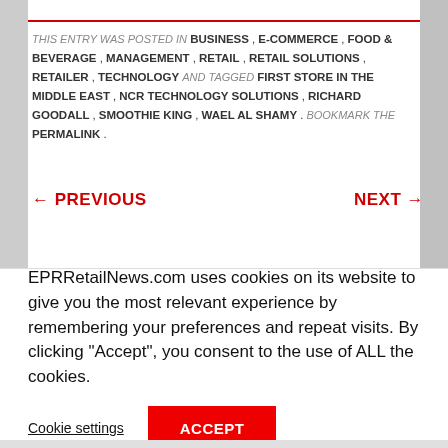THIS ENTRY WAS POSTED IN BUSINESS , E-COMMERCE , FOOD & BEVERAGE , MANAGEMENT , RETAIL , RETAIL SOLUTIONS , RETAILER , TECHNOLOGY AND TAGGED FIRST STORE IN THE MIDDLE EAST , NCR TECHNOLOGY SOLUTIONS , RICHARD GOODALL , SMOOTHIE KING , WAEL AL SHAMY . BOOKMARK THE PERMALINK .
← PREVIOUS    NEXT →
EPRRetailNews.com uses cookies on its website to give you the most relevant experience by remembering your preferences and repeat visits. By clicking "Accept", you consent to the use of ALL the cookies.
Cookie settings    ACCEPT